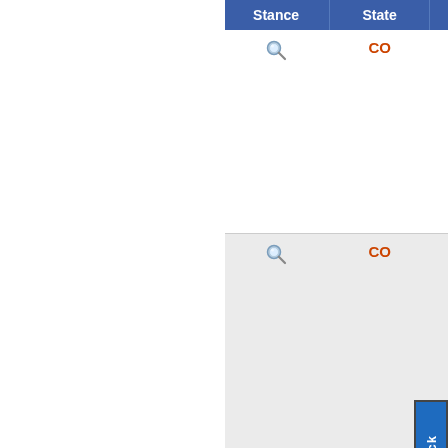| Stance | State | Bill | Sta... |
| --- | --- | --- | --- |
| [icon] | CO | HB1368 | Pas... |
| [icon] | CO | HB1246 | Pas... |
| [icon] | CO | HB1354 | Pas... |
| [icon] | CO | HB1285 |  |
| [icon] | CO | SB058 | Pas... |